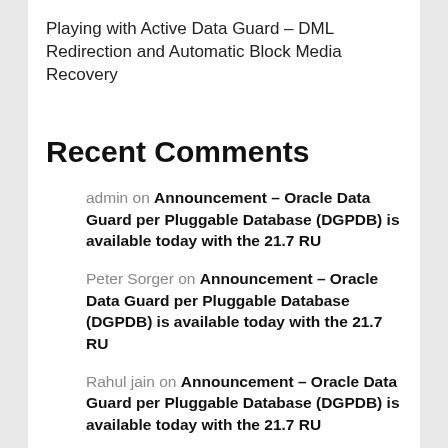Playing with Active Data Guard – DML Redirection and Automatic Block Media Recovery
Recent Comments
admin on Announcement – Oracle Data Guard per Pluggable Database (DGPDB) is available today with the 21.7 RU
Peter Sorger on Announcement – Oracle Data Guard per Pluggable Database (DGPDB) is available today with the 21.7 RU
Rahul jain on Announcement – Oracle Data Guard per Pluggable Database (DGPDB) is available today with the 21.7 RU
Jamil ahmed on Playing with Active Data Guard – DML Redirection and Automatic Block Media Recovery
admin on Some amazing news – a new adventure